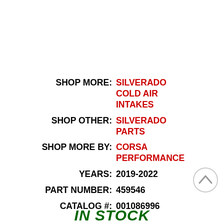SHOP MORE: SILVERADO COLD AIR INTAKES
SHOP OTHER: SILVERADO PARTS
SHOP MORE BY: CORSA PERFORMANCE
YEARS: 2019-2022
PART NUMBER: 459546
CATALOG #: 001086996
IN STOCK